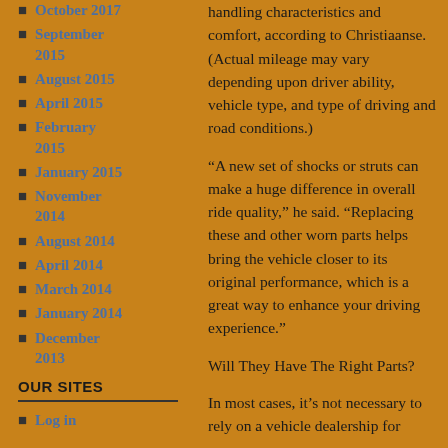October 2017
September 2015
August 2015
April 2015
February 2015
January 2015
November 2014
August 2014
April 2014
March 2014
January 2014
December 2013
OUR SITES
Log in
handling characteristics and comfort, according to Christiaanse. (Actual mileage may vary depending upon driver ability, vehicle type, and type of driving and road conditions.)
“A new set of shocks or struts can make a huge difference in overall ride quality,” he said. “Replacing these and other worn parts helps bring the vehicle closer to its original performance, which is a great way to enhance your driving experience.”
Will They Have The Right Parts?
In most cases, it’s not necessary to rely on a vehicle dealership for